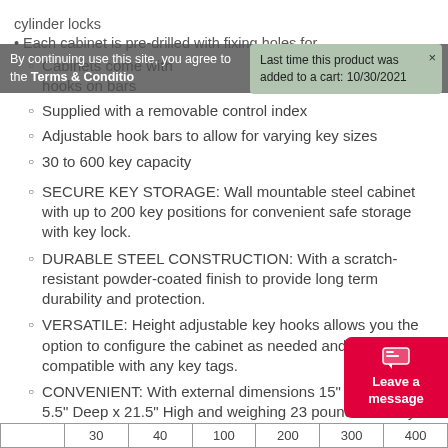cylinder locks
Each cabinet is pre-drilled with fixing holes for
Cabinets come with hooks on bars
Supplied with a removable control index
Adjustable hook bars to allow for varying key sizes
30 to 600 key capacity
SECURE KEY STORAGE: Wall mountable steel cabinet with up to 200 key positions for convenient safe storage with key lock.
DURABLE STEEL CONSTRUCTION: With a scratch-resistant powder-coated finish to provide long term durability and protection.
VERSATILE: Height adjustable key hooks allows you the option to configure the cabinet as needed and compatible with any key tags.
CONVENIENT: With external dimensions 15" Wide x 5.5" Deep x 21.5" High and weighing 23 pounds this key cabinet can be used in many personal and business applications in a convenient compact size.
INCLUDES: 2 keys, key log sheets, 200 blank key tags, adjustable numbered key hooks, pre-drilled holes and mounting hardware.
By continuing use this site, you agree to the Terms & Conditions and cookie…
Last time this product was added to a cart: 10/30/2021
|  | 30 | 40 | 100 | 200 | 300 | 400 |